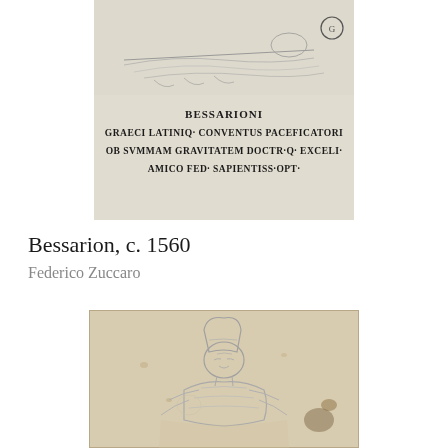[Figure (illustration): A historical engraving/print showing a recumbent figure at top and a Latin inscription below reading: BESSARIONI / GRAECI LATINIQ. CONVENTUS PACEFICATORI / OB SVMMAM GRAVIVATEM DOCTR.Q. EXCELI. / AMICO FED. SAPIENTISS. OPT., with a small circular emblem at the right]
Bessarion, c. 1560
Federico Zuccaro
[Figure (illustration): A pencil/chalk drawing portrait of a man in ecclesiastical robes and a tall hat (mitre), shown from the chest up, looking slightly to the right, on aged paper with visible foxing and stains]